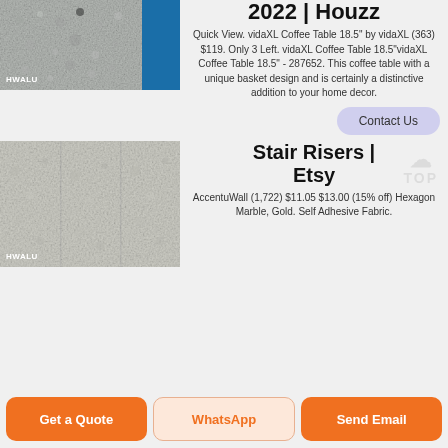[Figure (photo): HWALU branded image showing textured metallic surface and blue panel]
2022 | Houzz
Quick View. vidaXL Coffee Table 18.5" by vidaXL (363) $119. Only 3 Left. vidaXL Coffee Table 18.5"vidaXL Coffee Table 18.5" - 287652. This coffee table with a unique basket design and is certainly a distinctive addition to your home decor.
Contact Us
[Figure (photo): HWALU branded image showing three stair riser panels with textured surface]
Stair Risers | Etsy
AccentuWall (1,722) $11.05 $13.00 (15% off) Hexagon Marble, Gold. Self Adhesive Fabric.
Get a Quote
WhatsApp
Send Email